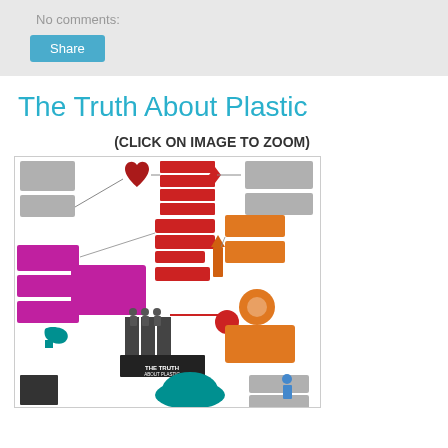No comments:
Share
The Truth About Plastic
(CLICK ON IMAGE TO ZOOM)
[Figure (infographic): Colorful infographic titled 'The Truth About Plastic' showing a flowchart-style diagram with sections in gray, red/dark red, orange, magenta/purple, teal, and black covering various facts and statistics about plastic. Includes heart shape, human figures, building shapes, factory icons, maps, and connected boxes with text.]